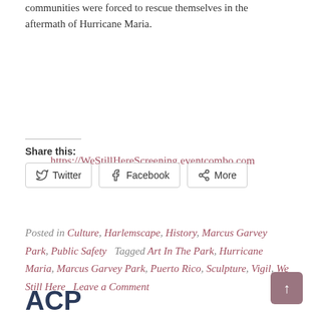communities were forced to rescue themselves in the aftermath of Hurricane Maria.
https://WeStillHereScreening.eventcombo.com
Share this:
Twitter  Facebook  More
Posted in Culture, Harlemscape, History, Marcus Garvey Park, Public Safety  Tagged Art In The Park, Hurricane Maria, Marcus Garvey Park, Puerto Rico, Sculpture, Vigil, We Still Here    Leave a Comment
ACP